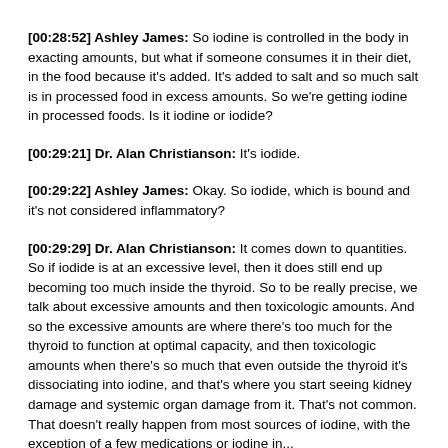[00:28:52] Ashley James: So iodine is controlled in the body in exacting amounts, but what if someone consumes it in their diet, in the food because it's added. It's added to salt and so much salt is in processed food in excess amounts. So we're getting iodine in processed foods. Is it iodine or iodide?
[00:29:21] Dr. Alan Christianson: It's iodide.
[00:29:22] Ashley James: Okay. So iodide, which is bound and it's not considered inflammatory?
[00:29:29] Dr. Alan Christianson: It comes down to quantities. So if iodide is at an excessive level, then it does still end up becoming too much inside the thyroid. So to be really precise, we talk about excessive amounts and then toxicologic amounts. And so the excessive amounts are where there's too much for the thyroid to function at optimal capacity, and then toxicologic amounts when there's so much that even outside the thyroid it's dissociating into iodine, and that's where you start seeing kidney damage and systemic organ damage from it. That's not common. That doesn't really happen from most sources of iodine, with the exception of a few medications or iodine in...